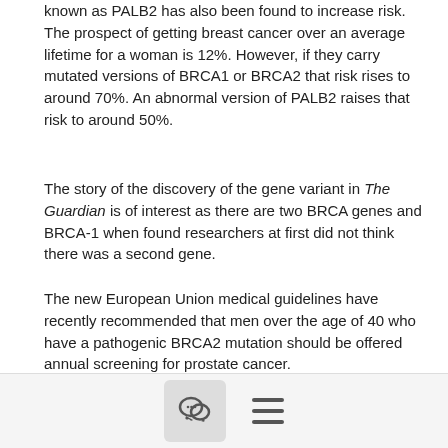known as PALB2 has also been found to increase risk. The prospect of getting breast cancer over an average lifetime for a woman is 12%. However, if they carry mutated versions of BRCA1 or BRCA2 that risk rises to around 70%. An abnormal version of PALB2 raises that risk to around 50%.
The story of the discovery of the gene variant in The Guardian is of interest as there are two BRCA genes and BRCA-1 when found researchers at first did not think there was a second gene.
The new European Union medical guidelines have recently recommended that men over the age of 40 who have a pathogenic BRCA2 mutation should be offered annual screening for prostate cancer.
To read the Guardian article see:
https://www.theguardian.com/society/2021/jan/10/how-race-to-track-mystery-gene-with-links-to-three-cancers-saved-millions
[comment icon] [menu icon]